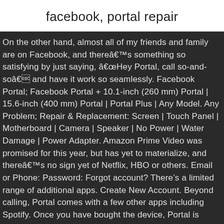facebook, portal repair
On the other hand, almost all of my friends and family are on Facebook, and thereâs something so satisfying by just saying, âHey Portal, call so-and-soâ and have it work so seamlessly. Facebook Portal; Facebook Portal + 10.1-inch (260 mm) Portal | 15.6-inch (400 mm) Portal | Portal Plus | Any Model. Any Problem; Repair & Replacement: Screen | Touch Panel | Motherboard | Camera | Speaker | No Power | Water Damage | Power Adapter. Amazon Prime Video was promised for this year, but has yet to materialize, and thereâs no sign yet of Netflix, HBO or others. Email or Phone: Password: Forgot account? There’s a limited range of additional apps. Create New Account. Beyond calling, Portal comes with a few other apps including Spotify. Once you have bought the device, Portal is completely free to use, provided you have a Facebook account. You can use it to watch videos, play games and find out the local weather, or help you tell children’s